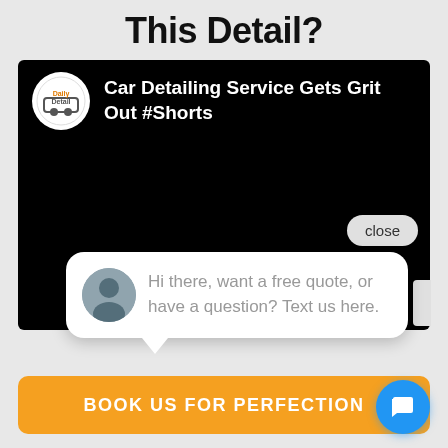This Detail?
[Figure (screenshot): Screenshot of a YouTube video page showing 'Car Detailing Service Gets Grit Out #Shorts' with a DailyDetail channel logo, a chat widget popup saying 'Hi there, want a free quote, or have a question? Text us here.' with a close button, and a 'BOOK US FOR PERFECTION' orange button at the bottom with a blue chat icon.]